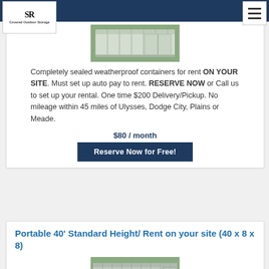Scotts Rentors - Covered/Outdoor Storage
[Figure (photo): White/grey portable storage container on grass]
Completely sealed weatherproof containers for rent ON YOUR SITE. Must set up auto pay to rent. RESERVE NOW or Call us to set up your rental. One time $200 Delivery/Pickup. No mileage within 45 miles of Ulysses, Dodge City, Plains or Meade.
$80 / month
Reserve Now for Free!
Portable 40' Standard Height/ Rent on your site (40 x 8 x 8)
[Figure (photo): Grey portable 40ft standard height storage container outdoors]